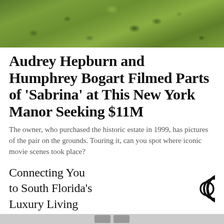[Figure (photo): Aerial or close-up view of green grass lawn, lush and textured]
Audrey Hepburn and Humphrey Bogart Filmed Parts of 'Sabrina' at This New York Manor Seeking $11M
The owner, who purchased the historic estate in 1999, has pictures of the pair on the grounds. Touring it, can you spot where iconic movie scenes took place?
Connecting You to South Florida's Luxury Living
[Figure (logo): Stylized letter C logo in black outline, double-arc circular style]